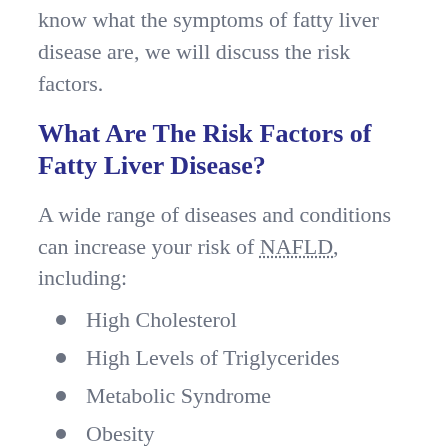know what the symptoms of fatty liver disease are, we will discuss the risk factors.
What Are The Risk Factors of Fatty Liver Disease?
A wide range of diseases and conditions can increase your risk of NAFLD, including:
High Cholesterol
High Levels of Triglycerides
Metabolic Syndrome
Obesity